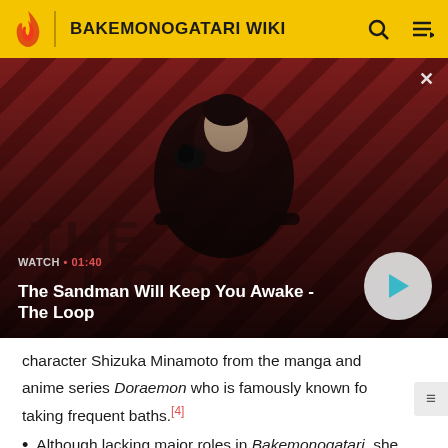BAKEMONOGATARI WIKI
[Figure (screenshot): Video thumbnail for 'The Sandman Will Keep You Awake - The Loop', showing a dark-clad figure with a raven on his shoulder against a red diagonal-striped background. Overlay shows WATCH • 01:40 and a play button.]
The Sandman Will Keep You Awake - The Loop
character Shizuka Minamoto from the manga and anime series Doraemon who is famously known for taking frequent baths.[4]
Although lacking major roles in Bakemonogatari, she and Karen narrate the previews for the next episode.